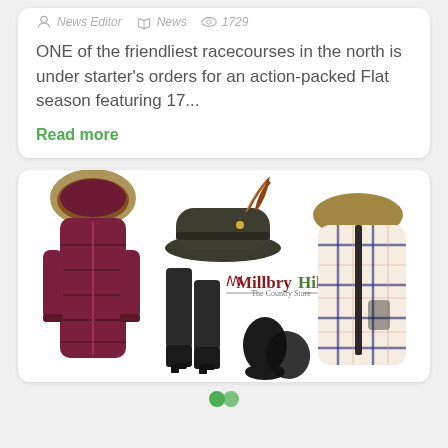News Editor  News  1729
ONE of the friendliest racecourses in the north is under starter's orders for an action-packed Flat season featuring 17...
Read more
[Figure (photo): Millbry Hill country store advertisement showing various clothing items: a dark magenta/burgundy fur-trimmed puffer coat on the left, a dark felt fedora hat with feather in the center top, tall black riding boots in the center, Millbry Hill The Country Store logo, black leather gloves in the center bottom, and a plaid cape/coat with fur collar on the right.]